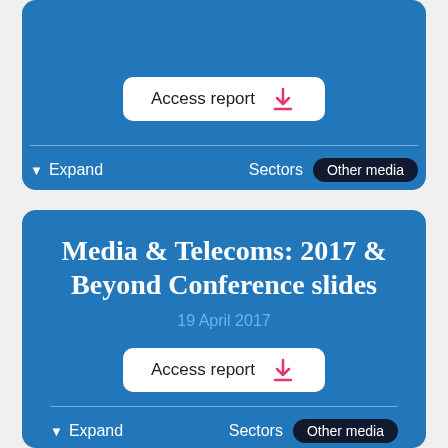[Figure (screenshot): Top portion of a blue card showing an Access report download button, a divider, and an Expand/Sectors row with 'Other media' badge.]
Media & Telecoms: 2017 & Beyond Conference slides
19 April 2017
Access report
Expand
Sectors  Other media